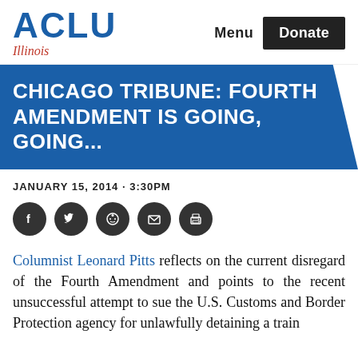ACLU Illinois — Menu | Donate
CHICAGO TRIBUNE: FOURTH AMENDMENT IS GOING, GOING...
JANUARY 15, 2014 · 3:30PM
[Figure (other): Social sharing icons: Facebook, Twitter, Reddit, Email, Print]
Columnist Leonard Pitts reflects on the current disregard of the Fourth Amendment and points to the recent unsuccessful attempt to sue the U.S. Customs and Border Protection agency for unlawfully detaining a train